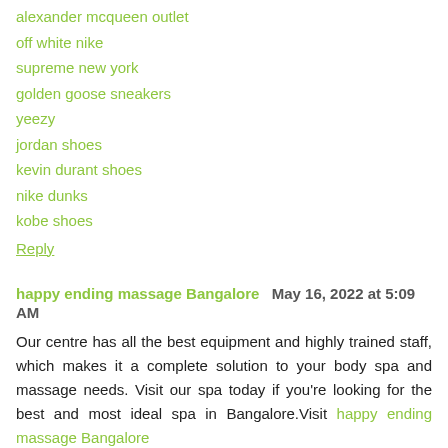alexander mcqueen outlet
off white nike
supreme new york
golden goose sneakers
yeezy
jordan shoes
kevin durant shoes
nike dunks
kobe shoes
Reply
happy ending massage Bangalore  May 16, 2022 at 5:09 AM
Our centre has all the best equipment and highly trained staff, which makes it a complete solution to your body spa and massage needs. Visit our spa today if you're looking for the best and most ideal spa in Bangalore.Visit happy ending massage Bangalore